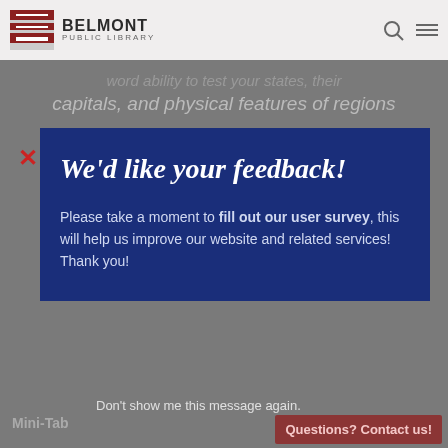BELMONT PUBLIC LIBRARY
word ability to test your states, their capitals, and physical features of regions
We'd like your feedback!
Please take a moment to fill out our user survey, this will help us improve our website and related services! Thank you!
Don't show me this message again.
Mini-Tab
https://youtu.be/j8sYqsD2WZQ
Content: Free short videos encouraging children and their caregivers to relax and keep their th…
Questions? Contact us!